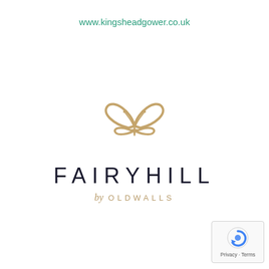www.kingsheadgower.co.uk
[Figure (logo): Fairyhill by Oldwalls logo: a gold/tan butterfly outline above the text FAIRYHILL in large spaced dark letters, with 'by OLDWALLS' below in gold]
[Figure (other): Google reCAPTCHA badge with Privacy and Terms links]